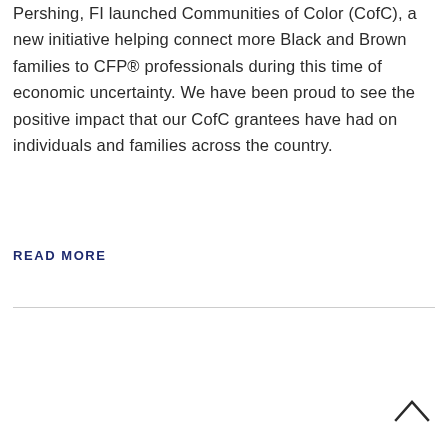Pershing, FI launched Communities of Color (CofC), a new initiative helping connect more Black and Brown families to CFP® professionals during this time of economic uncertainty. We have been proud to see the positive impact that our CofC grantees have had on individuals and families across the country.
READ MORE